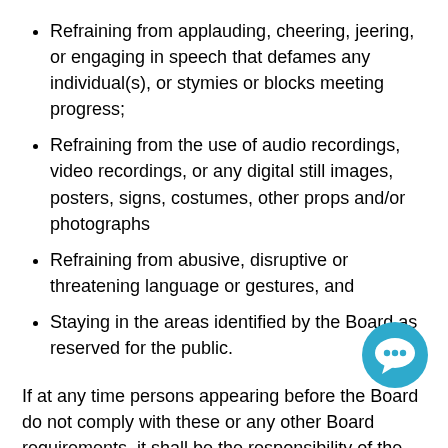Refraining from applauding, cheering, jeering, or engaging in speech that defames any individual(s), or stymies or blocks meeting progress;
Refraining from the use of audio recordings, video recordings, or any digital still images, posters, signs, costumes, other props and/or photographs
Refraining from abusive, disruptive or threatening language or gestures, and
Staying in the areas identified by the Board as reserved for the public.
If at any time persons appearing before the Board do not comply with these or any other Board requirements, it shall be the responsibility of the chair to declare that person or persons out of order and require a change in behavior, delay or recess the meeting, or refuse permission to continue to address the Board, and ultimately may require the person or persons to leave the premises of the Board